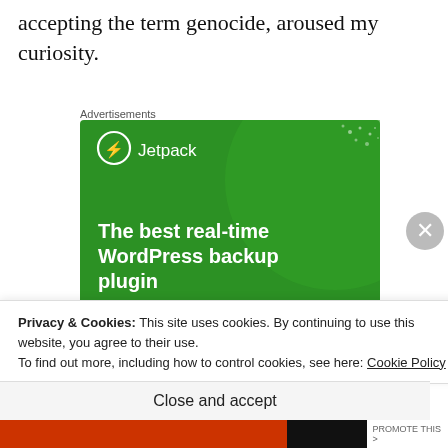accepting the term genocide, aroused my curiosity.
Advertisements
[Figure (screenshot): Jetpack advertisement banner on green background with text 'The best real-time WordPress backup plugin' and a 'Back up your site' button]
Privacy & Cookies: This site uses cookies. By continuing to use this website, you agree to their use.
To find out more, including how to control cookies, see here: Cookie Policy
Close and accept